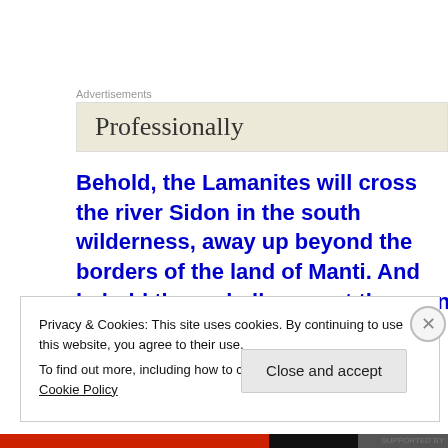Advertisements
[Figure (other): Advertisement banner with text 'Professionally' on a beige background]
Behold, the Lamanites will cross the river Sidon in the south wilderness, away up beyond the borders of the land of Manti. And behold there shall ye meet them, on the east of the river Sidon, and there the Lord will
Privacy & Cookies: This site uses cookies. By continuing to use this website, you agree to their use.
To find out more, including how to control cookies, see here: Cookie Policy
Close and accept